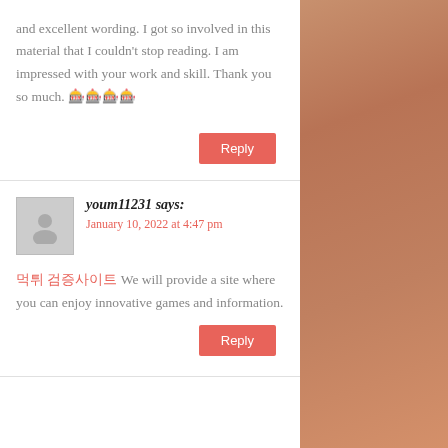and excellent wording. I got so involved in this material that I couldn't stop reading. I am impressed with your work and skill. Thank you so much. 🎰🎰🎰🎰
Reply
youm11231 says:
January 10, 2022 at 4:47 pm
먹튀 검증사이트 We will provide a site where you can enjoy innovative games and information.
Reply